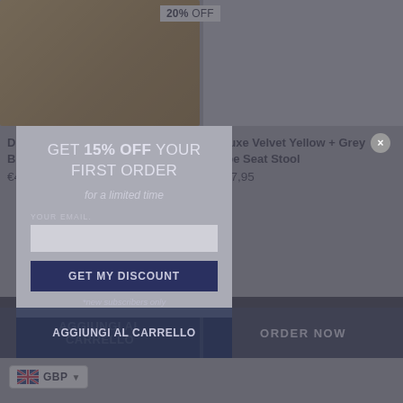20% OFF
GET 15% OFF YOUR FIRST ORDER
for a limited time
YOUR EMAIL.
Get my discount
*new subscribers only
Deluxe Velvet Yellow + Grey Bolster Pillow 45cm x 20cm
€41,95
Deluxe Velvet Yellow + Grey Cube Seat Stool
€127,95
AGGIUNGI AL CARRELLO
ORDER NOW
GBP